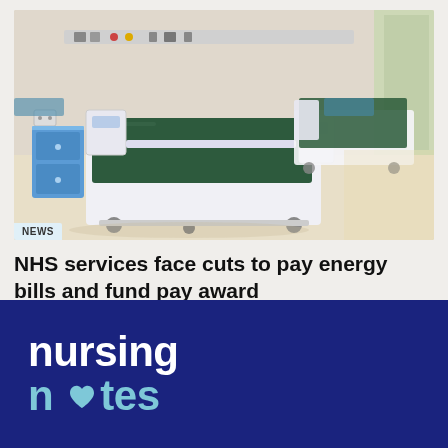[Figure (photo): Hospital room with two empty medical beds with dark green mattresses, blue and white bed frames on wheels, a blue bedside cabinet, medical equipment panel on the wall, and a window with natural light.]
NHS services face cuts to pay energy bills and fund pay award
[Figure (logo): Nursing Notes logo — white 'nursing' text and light blue 'notes' text with a heart shape replacing the 'o', on a dark navy blue background.]